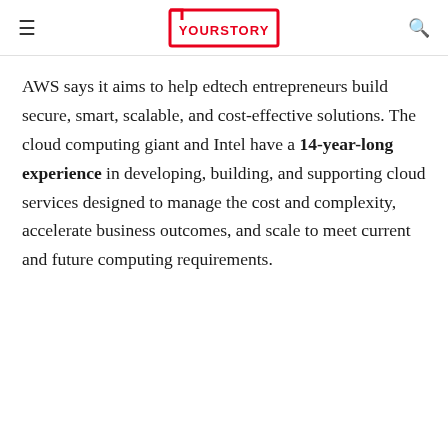YOURSTORY
AWS says it aims to help edtech entrepreneurs build secure, smart, scalable, and cost-effective solutions. The cloud computing giant and Intel have a 14-year-long experience in developing, building, and supporting cloud services designed to manage the cost and complexity, accelerate business outcomes, and scale to meet current and future computing requirements.